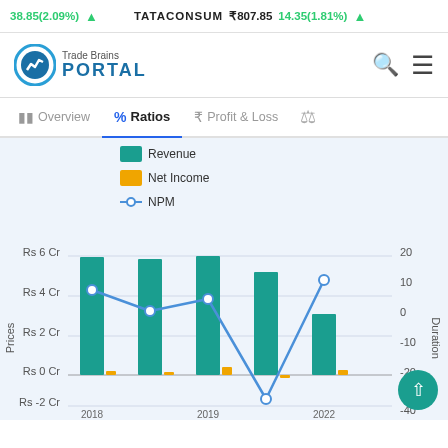38.85(2.09%) ▲   TATACONSUM ₹807.85   14.35(1.81%) ▲
[Figure (logo): Trade Brains Portal logo with circular chart icon]
Overview   %  Ratios   ₹  Profit & Loss   ⚖
[Figure (grouped-bar-chart): Grouped bar chart showing Revenue (teal bars) and Net Income (orange bars) with NPM line chart overlay for years 2018-2022]